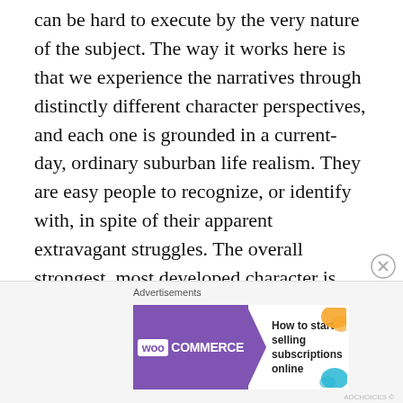can be hard to execute by the very nature of the subject. The way it works here is that we experience the narratives through distinctly different character perspectives, and each one is grounded in a current-day, ordinary suburban life realism. They are easy people to recognize, or identify with, in spite of their apparent extravagant struggles. The overall strongest, most developed character is Jonathan, who is also responsible for some of the funniest moments in the novel related to his search for, and despair of, discovering the giant, once-believed-to-be-extinct Tusoteuthis longa. I admit I did expect Thisbe's experiences to be a little more intense and
[Figure (other): WooCommerce advertisement banner: purple background with WooCommerce logo and arrow, white section with text 'How to start selling subscriptions online' and colorful decorative blobs]